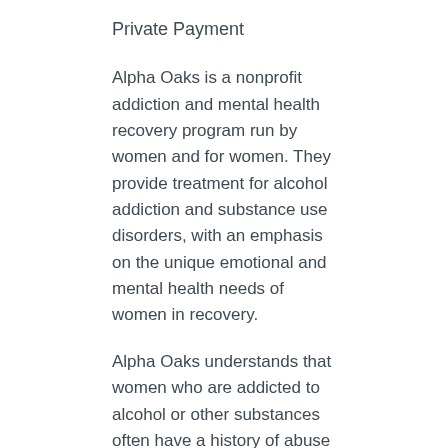Private Payment
Alpha Oaks is a nonprofit addiction and mental health recovery program run by women and for women. They provide treatment for alcohol addiction and substance use disorders, with an emphasis on the unique emotional and mental health needs of women in recovery.
Alpha Oaks understands that women who are addicted to alcohol or other substances often have a history of abuse and self-esteem issues which are best addressed in a gender-specific environment. This makes Alpha Oaks an ideal rehab facility for women with trauma-related recovery needs.
They provide medically supervised detox, individual counseling, sober living, and 12-Step facilitation. This rehab center has come a long way since it was